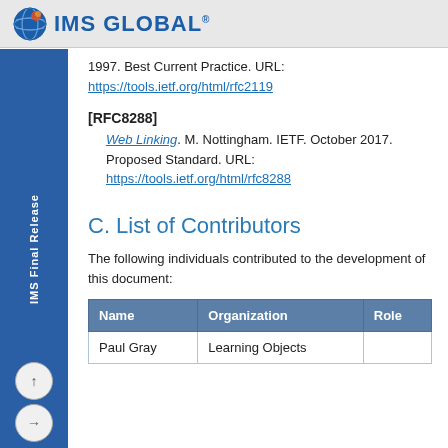IMS GLOBAL
1997. Best Current Practice. URL: https://tools.ietf.org/html/rfc2119
[RFC8288] Web Linking. M. Nottingham. IETF. October 2017. Proposed Standard. URL: https://tools.ietf.org/html/rfc8288
C. List of Contributors
The following individuals contributed to the development of this document:
| Name | Organization | Role |
| --- | --- | --- |
| Paul Gray | Learning Objects |  |